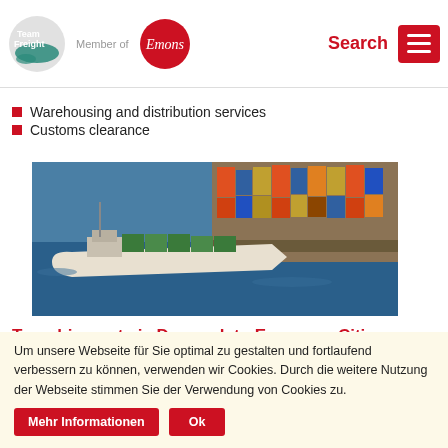[Figure (logo): Team Freight logo (circular, teal/green with white text) and Emons red circle logo with 'Member of' text between them]
Warehousing and distribution services
Customs clearance
[Figure (photo): Aerial photograph of a cargo ship carrying containers in a port, with large stacks of shipping containers visible along the dock]
Transhipment via Denmark to European Cities
Via Denmark we are serving any cities in Europa
Um unsere Webseite für Sie optimal zu gestalten und fortlaufend verbessern zu können, verwenden wir Cookies. Durch die weitere Nutzung der Webseite stimmen Sie der Verwendung von Cookies zu.
Mehr Informationen
Ok